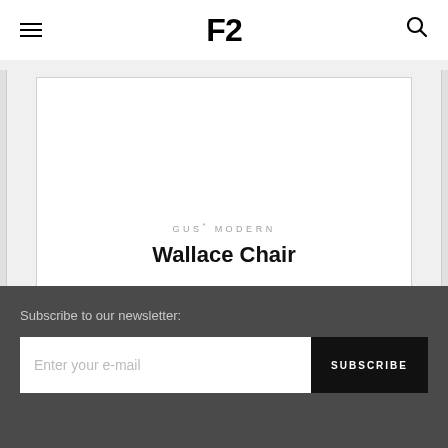F2
[Figure (other): Carousel card showing GUS* MODERN Wallace Chair product listing with white card on light grey background]
GUS* MODERN
Wallace Chair
Subscribe to our newsletter:
Enter your e-mail   SUBSCRIBE